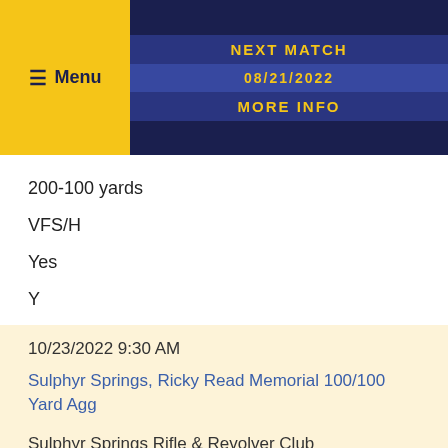≡ Menu | NEXT MATCH | 08/21/2022 | MORE INFO
200-100 yards
VFS/H
Yes
Y
10/23/2022 9:30 AM
Sulphyr Springs, Ricky Read Memorial 100/100 Yard Agg
Sulphyr Springs Rifle & Revolver Club
Clarkstown,PA
100/100 Yards